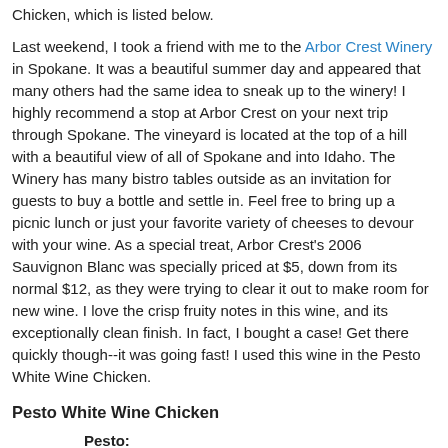Chicken, which is listed below.
Last weekend, I took a friend with me to the Arbor Crest Winery in Spokane. It was a beautiful summer day and appeared that many others had the same idea to sneak up to the winery! I highly recommend a stop at Arbor Crest on your next trip through Spokane. The vineyard is located at the top of a hill with a beautiful view of all of Spokane and into Idaho. The Winery has many bistro tables outside as an invitation for guests to buy a bottle and settle in. Feel free to bring up a picnic lunch or just your favorite variety of cheeses to devour with your wine. As a special treat, Arbor Crest's 2006 Sauvignon Blanc was specially priced at $5, down from its normal $12, as they were trying to clear it out to make room for new wine. I love the crisp fruity notes in this wine, and its exceptionally clean finish. In fact, I bought a case! Get there quickly though--it was going fast! I used this wine in the Pesto White Wine Chicken.
Pesto White Wine Chicken
Pesto:
2 cups fresh basil